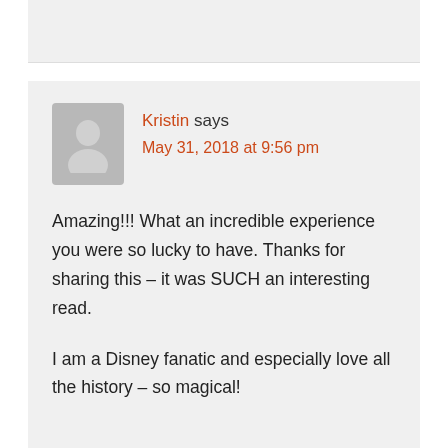Kristin says
May 31, 2018 at 9:56 pm
Amazing!!! What an incredible experience you were so lucky to have. Thanks for sharing this – it was SUCH an interesting read.

I am a Disney fanatic and especially love all the history – so magical!